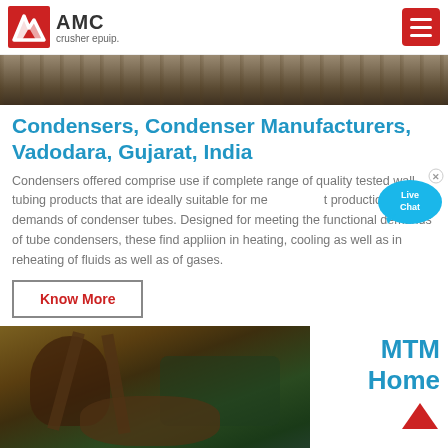AMC crusher epuip.
[Figure (photo): Partial view of rocky/earth construction site banner image at top of page]
Condensers, Condenser Manufacturers, Vadodara, Gujarat, India
Condensers offered comprise use if complete range of quality tested wall tubing products that are ideally suitable for meeting production demands of condenser tubes. Designed for meeting the functional demands of tube condensers, these find appliion in heating, cooling as well as in reheating of fluids as well as of gases.
Know More
[Figure (photo): Industrial machinery/crusher equipment with hills and greenery in background]
MTM Home